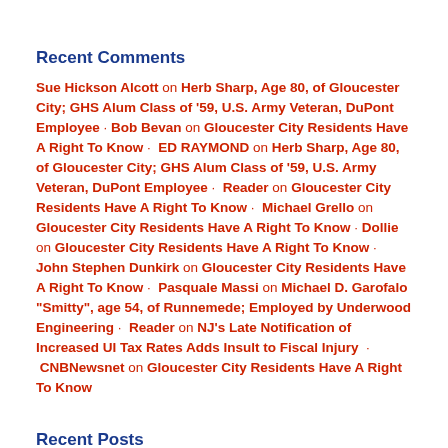Recent Comments
Sue Hickson Alcott on Herb Sharp, Age 80, of Gloucester City; GHS Alum Class of '59, U.S. Army Veteran, DuPont Employee · Bob Bevan on Gloucester City Residents Have A Right To Know · ED RAYMOND on Herb Sharp, Age 80, of Gloucester City; GHS Alum Class of '59, U.S. Army Veteran, DuPont Employee · Reader on Gloucester City Residents Have A Right To Know · Michael Grello on Gloucester City Residents Have A Right To Know · Dollie on Gloucester City Residents Have A Right To Know · John Stephen Dunkirk on Gloucester City Residents Have A Right To Know · Pasquale Massi on Michael D. Garofalo "Smitty", age 54, of Runnemede; Employed by Underwood Engineering · Reader on NJ's Late Notification of Increased UI Tax Rates Adds Insult to Fiscal Injury · CNBNewsnet on Gloucester City Residents Have A Right To Know
Recent Posts
GIBBSBORO RESIDENTS: Q3 taxes ends August 23 · Dr. Fauci Announces Resignation · Is Amtrak Being Use for Illegal Immigrants to Cross Border · Tips for learning Cybersecurity ·